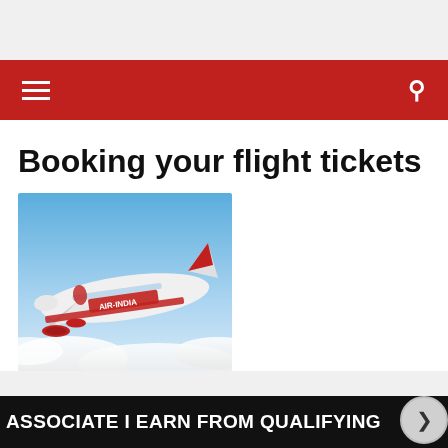Booking your flight tickets
[Figure (photo): Air India airplane (large white aircraft with red Air India livery and logo) flying above clouds against a blue sky]
ASSOCIATE I EARN FROM QUALIFYING